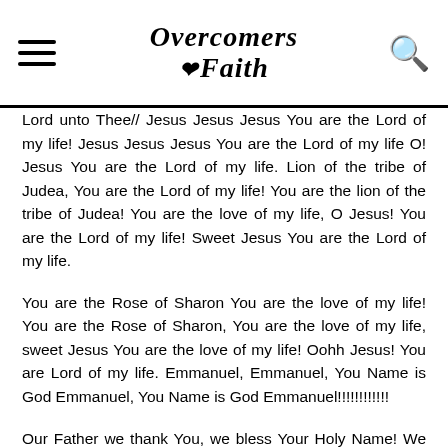Overcomers Faith
Lord unto Thee// Jesus Jesus Jesus You are the Lord of my life! Jesus Jesus Jesus You are the Lord of my life O! Jesus You are the Lord of my life. Lion of the tribe of Judea, You are the Lord of my life! You are the lion of the tribe of Judea! You are the love of my life, O Jesus! You are the Lord of my life! Sweet Jesus You are the Lord of my life.
You are the Rose of Sharon You are the love of my life! You are the Rose of Sharon, You are the love of my life, sweet Jesus You are the love of my life! Oohh Jesus! You are Lord of my life. Emmanuel, Emmanuel, You Name is God Emmanuel, You Name is God Emmanuel!!!!!!!!!!!!
Our Father we thank You, we bless Your Holy Name! We worship and exalt Your Holy Name! Excellent is Thy Name! Excellent is Thy power! Glory alleluia be ascribe unto You alone in Jesus Name! Come and inhabits the Praise of Your children and do that which only You can do, in Your mercy O! Lord deliver Your children that are oppressed, deliver those in captivity, deliver that